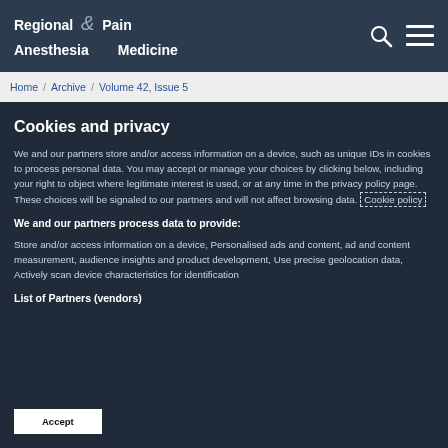Regional Anesthesia & Pain Medicine
Home / Archive / Volume 42, Issue 5
Cookies and privacy
We and our partners store and/or access information on a device, such as unique IDs in cookies to process personal data. You may accept or manage your choices by clicking below, including your right to object where legitimate interest is used, or at any time in the privacy policy page. These choices will be signaled to our partners and will not affect browsing data. Cookie policy
We and our partners process data to provide:
Store and/or access information on a device, Personalised ads and content, ad and content measurement, audience insights and product development, Use precise geolocation data, Actively scan device characteristics for identification
List of Partners (vendors)